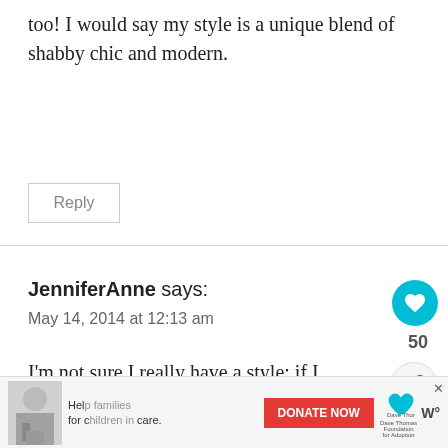too! I would say my style is a unique blend of shabby chic and modern.
Reply
JenniferAnne says:
May 14, 2014 at 12:13 am
I'm not sure I really have a style; if I did, I'd like it to be Southwestern Style!
Reply